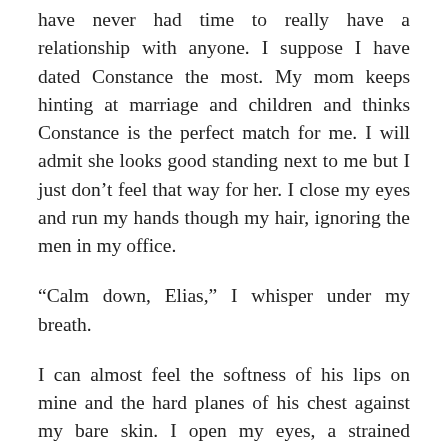have never had time to really have a relationship with anyone. I suppose I have dated Constance the most. My mom keeps hinting at marriage and children and thinks Constance is the perfect match for me. I will admit she looks good standing next to me but I just don't feel that way for her. I close my eyes and run my hands though my hair, ignoring the men in my office.
“Calm down, Elias,” I whisper under my breath.
I can almost feel the softness of his lips on mine and the hard planes of his chest against my bare skin. I open my eyes, a strained expression on my face. I’m not gay; he’s just a good looking man, most people would have that response. It doesn’t mean anything more. Yeah, right! Who am I